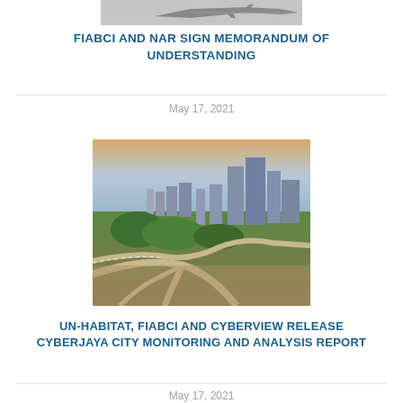[Figure (photo): Partial image of an airplane or aircraft wing silhouette at the top of the page, cropped]
FIABCI AND NAR SIGN MEMORANDUM OF UNDERSTANDING
May 17, 2021
[Figure (photo): Aerial photograph of Cyberjaya city, Malaysia, showing highway interchange, green areas, and city skyline with buildings at sunset/dusk]
UN-HABITAT, FIABCI AND CYBERVIEW RELEASE CYBERJAYA CITY MONITORING AND ANALYSIS REPORT
May 17, 2021